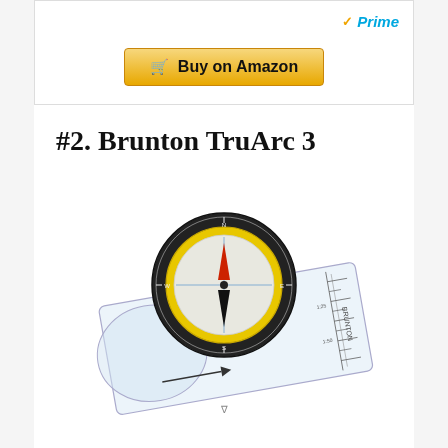[Figure (screenshot): Amazon Prime badge with orange checkmark and 'Buy on Amazon' button with shopping cart icon on golden gradient background]
#2. Brunton TruArc 3
[Figure (photo): Product photo of the Brunton TruArc 3 baseplate compass with transparent rectangular baseplate and black circular compass housing with yellow bezel ring and red/black needle, shown at an angle]